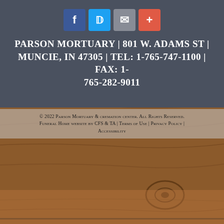[Figure (illustration): Wood plank background texture in warm brown tones covering the full page]
PARSON MORTUARY | 801 W. ADAMS ST | MUNCIE, IN 47305 | TEL: 1-765-747-1100 | FAX: 1-765-282-9011
© 2022 Parson Mortuary & cremation center. All Rights Reserved. Funeral Home website by CFS & TA | Terms of Use | Privacy Policy | Accessibility